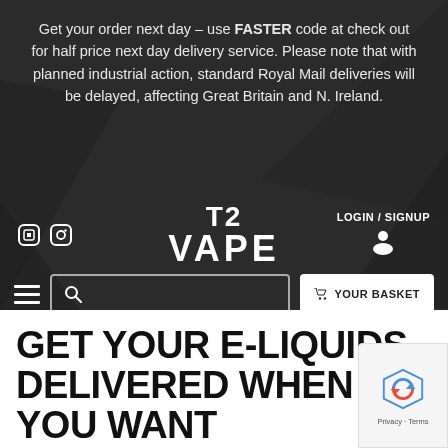Get your order next day – use FASTER code at check out for half price next day delivery service. Please note that with planned industrial action, standard Royal Mail deliveries will be delayed, affecting Great Britain and N. Ireland.
[Figure (logo): T2 VAPE logo in white bold text on dark background]
LOGIN / SIGNUP
YOUR BASKET
GET YOUR E-LIQUIDS DELIVERED WHEN YOU WANT